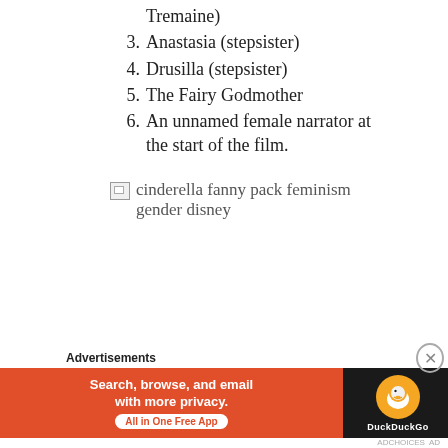Tremaine)
3. Anastasia (stepsister)
4. Drusilla (stepsister)
5. The Fairy Godmother
6. An unnamed female narrator at the start of the film.
[Figure (other): Broken image placeholder with alt text: cinderella fanny pack feminism gender disney]
Advertisements
[Figure (other): DuckDuckGo advertisement banner: Search, browse, and email with more privacy. All in One Free App]